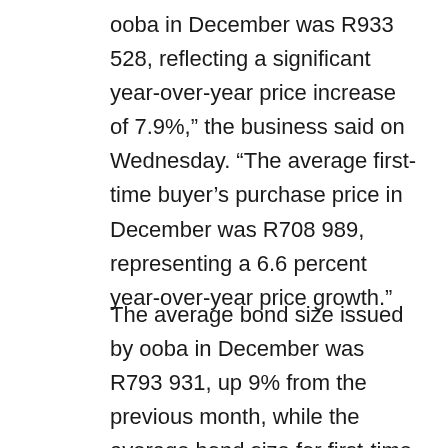ooba in December was R933 528, reflecting a significant year-over-year price increase of 7.9%,” the business said on Wednesday. “The average first-time buyer’s purchase price in December was R708 989, representing a 6.6 percent year-over-year price growth.”
The average bond size issued by ooba in December was R793 931, up 9% from the previous month, while the average bond size for first-time buyers was R627 021, up 9.9%.